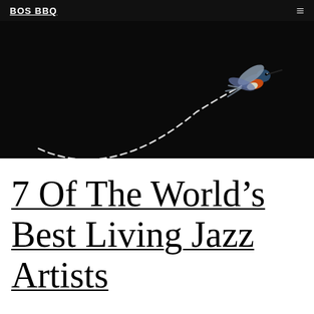BOS BBQ
[Figure (photo): Black background with a hummingbird in flight on the right side, with a dashed curved arc trailing from lower left to the bird on the upper right.]
7 Of The World’s Best Living Jazz Artists